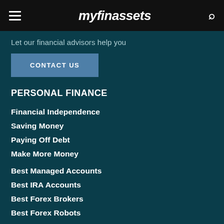myfinassets
Let our financial advisors help you
CONTACT US
PERSONAL FINANCE
Financial Independence
Saving Money
Paying Off Debt
Make More Money
Best Managed Accounts
Best IRA Accounts
Best Forex Brokers
Best Forex Robots
Best Saving Accounts